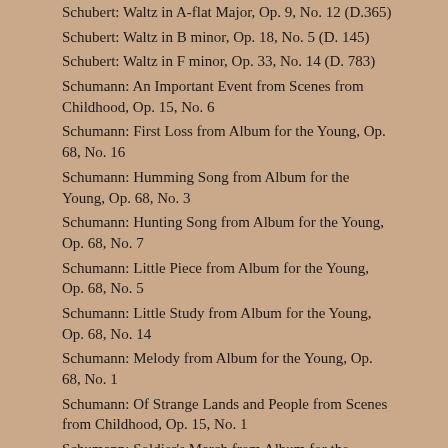Schubert: Waltz in A-flat Major, Op. 9, No. 12 (D.365)
Schubert: Waltz in B minor, Op. 18, No. 5 (D. 145)
Schubert: Waltz in F minor, Op. 33, No. 14 (D. 783)
Schumann: An Important Event from Scenes from Childhood, Op. 15, No. 6
Schumann: First Loss from Album for the Young, Op. 68, No. 16
Schumann: Humming Song from Album for the Young, Op. 68, No. 3
Schumann: Hunting Song from Album for the Young, Op. 68, No. 7
Schumann: Little Piece from Album for the Young, Op. 68, No. 5
Schumann: Little Study from Album for the Young, Op. 68, No. 14
Schumann: Melody from Album for the Young, Op. 68, No. 1
Schumann: Of Strange Lands and People from Scenes from Childhood, Op. 15, No. 1
Schumann: Soldier's March from Album for the Young, Op. 68, No. 2
Schumann: The Happy Farmer Returning from Work from Album for the Young, Op. 68, No. 10
Schumann: The Reaper's Song from Album for the Young, Op. 68, No. 18